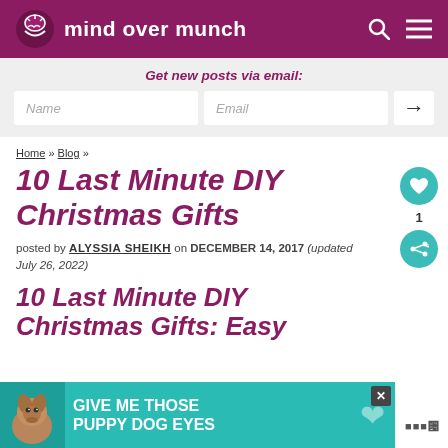mind over munch
Get new posts via email:
10 Last Minute DIY Christmas Gifts
posted by ALYSSIA SHEIKH on DECEMBER 14, 2017 (updated July 26, 2022)
10 Last Minute DIY Christmas Gifts: Easy
[Figure (other): Advertisement banner: teal background with dog image and text GIVE ME THOSE PUPPY DOG EYES]